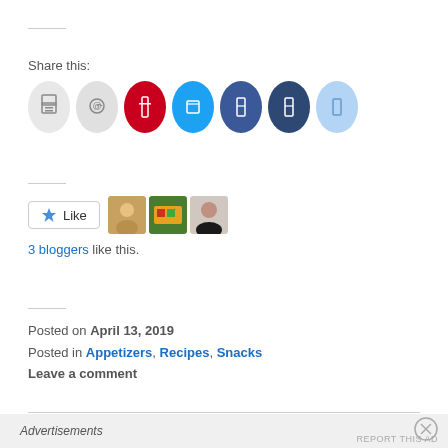Share this:
[Figure (infographic): Row of 7 social share icon buttons (print, email, Pinterest/red, Twitter/cyan, Facebook/blue, dark blue, and light blue oval icons)]
[Figure (infographic): Like button with star icon and 3 blogger avatar thumbnails]
3 bloggers like this.
Posted on April 13, 2019
Posted in Appetizers, Recipes, Snacks
Leave a comment
Advertisements